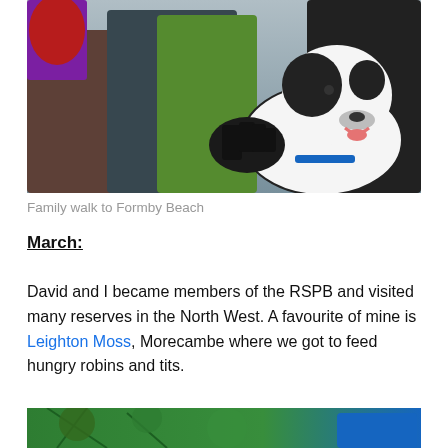[Figure (photo): Group of people and a black-and-white Border Collie dog at Formby Beach, one person extending a gloved hand toward the dog.]
Family walk to Formby Beach
March:
David and I became members of the RSPB and visited many reserves in the North West. A favourite of mine is Leighton Moss, Morecambe where we got to feed hungry robins and tits.
[Figure (photo): Partial view of a second photo, showing greenery and a blue hat, cropped at page bottom.]